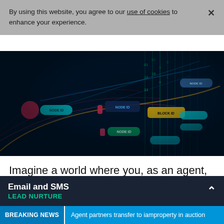By using this website, you agree to our use of cookies to enhance your experience.
[Figure (illustration): Abstract digital network diagram with glowing blue lines, node labels (NODE ID, BLOCK ID), and cascading green text on a dark background — representing blockchain or data network visualization.]
Imagine a world where you, as an agent, could focus on what you do best. Building and managing relationships, showing properties, [giving] our clients the best
Email and SMS
LEAD NURTURE
BREAKING NEWS  Agent partners transfer to iamproperty in auction